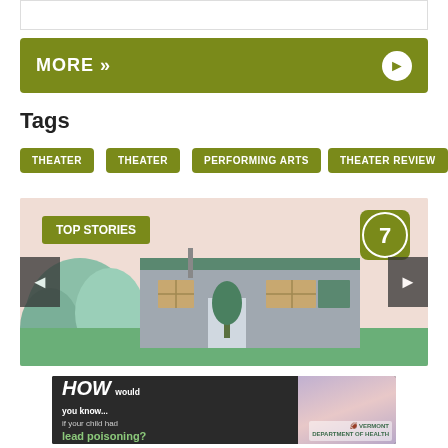[Figure (photo): Partial photo strip showing group of people at top of page]
MORE »
Tags
THEATER
THEATER
PERFORMING ARTS
THEATER REVIEW
[Figure (illustration): Top Stories carousel showing illustrated house scene with navigation arrows, number 7 badge]
[Figure (photo): Advertisement: HOW would you know... if your child had lead poisoning? Vermont Department of Health]